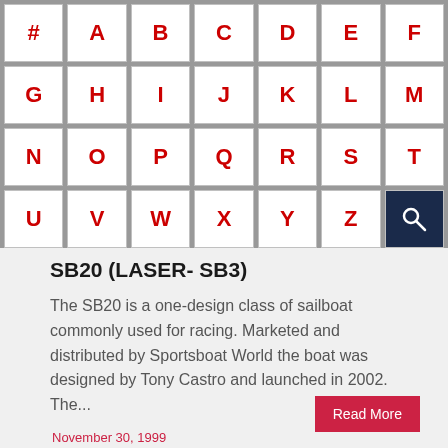[Figure (screenshot): Alphabetical navigation grid with letters #, A-Z and search icon button. Grid has 4 rows of letter cells with red text on white background, last cell is a dark navy search icon button.]
SB20 (LASER- SB3)
The SB20 is a one-design class of sailboat commonly used for racing. Marketed and distributed by Sportsboat World the boat was designed by Tony Castro and launched in 2002. The...
Read More
November 30, 1999